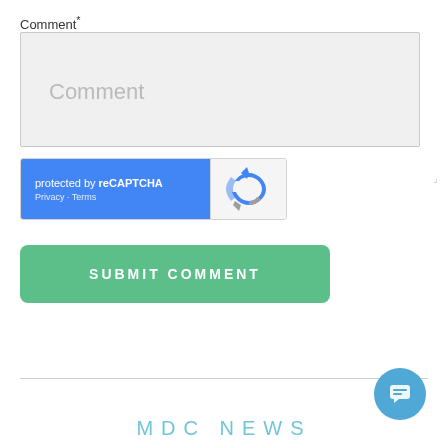Comment*
[Figure (screenshot): Comment textarea input box with light gray background and placeholder text 'Comment']
[Figure (screenshot): reCAPTCHA widget with blue left panel showing 'protected by reCAPTCHA' and Privacy/Terms links, white right panel with reCAPTCHA logo]
[Figure (screenshot): Green rounded 'SUBMIT COMMENT' button]
[Figure (screenshot): Blue circular chat button in bottom right corner]
MDC NEWS